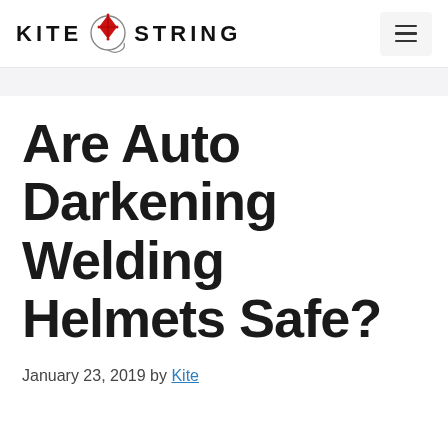KITE STRING
Are Auto Darkening Welding Helmets Safe?
January 23, 2019 by Kite